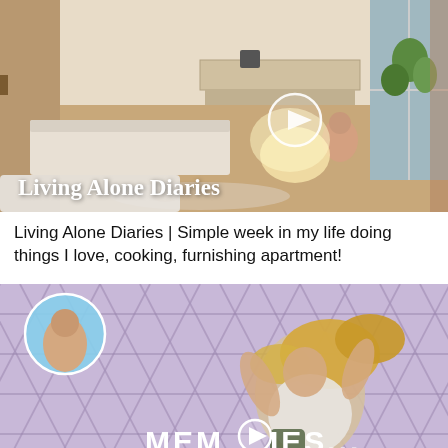[Figure (screenshot): Video thumbnail showing a bright apartment room with a person sitting on the floor with a laptop, plants near a window. White play button circle overlay. Text overlay reads 'Living Alone Diaries']
Living Alone Diaries | Simple week in my life doing things I love, cooking, furnishing apartment!
[Figure (screenshot): Video thumbnail showing a person with long blonde hair throwing their head back, against a purple chain-link fence background. Small circular person inset top left. Text overlay reads 'MEMORIES...' with play button icon replacing the O.]